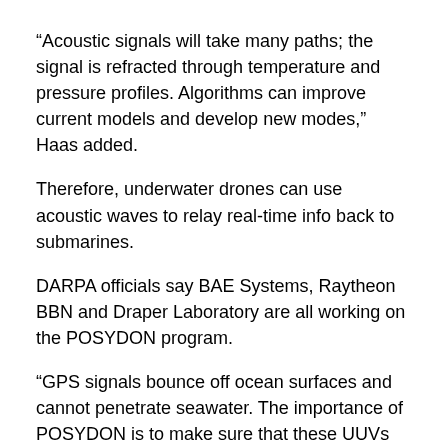“Acoustic signals will take many paths; the signal is refracted through temperature and pressure profiles. Algorithms can improve current models and develop new modes,” Haas added.
Therefore, underwater drones can use acoustic waves to relay real-time info back to submarines.
DARPA officials say BAE Systems, Raytheon BBN and Draper Laboratory are all working on the POSYDON program.
“GPS signals bounce off ocean surfaces and cannot penetrate seawater. The importance of POSYDON is to make sure that these UUVs [unmanned underwater vehicles] can really focus on their missions without having to periodically come to the surface for GPS to figure out exactly where they are,”